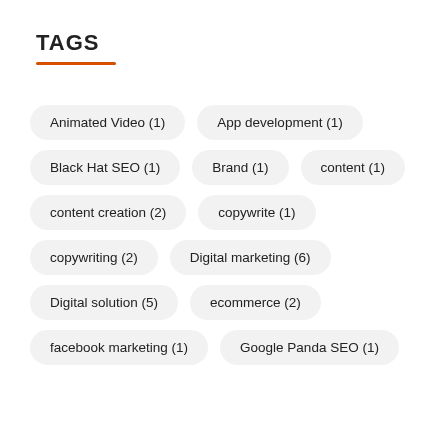TAGS
Animated Video (1)
App development (1)
Black Hat SEO (1)
Brand (1)
content (1)
content creation (2)
copywrite (1)
copywriting (2)
Digital marketing (6)
Digital solution (5)
ecommerce (2)
facebook marketing (1)
Google Panda SEO (1)